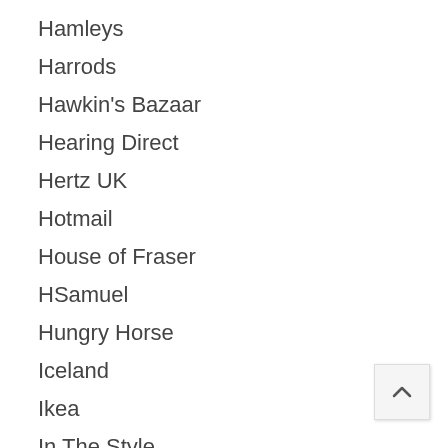Hamleys
Harrods
Hawkin's Bazaar
Hearing Direct
Hertz UK
Hotmail
House of Fraser
HSamuel
Hungry Horse
Iceland
Ikea
In The Style
Jack's
JustFab
K&Co
Kelkoo
Kiddicare
Knowhow